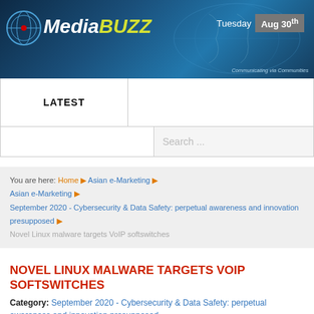[Figure (screenshot): MediaBuzz website banner with logo, blue background, world map graphic, date showing Tuesday Aug 30th, and tagline 'Communicating via Communities']
LATEST
Search ...
You are here: Home ▶ Asian e-Marketing ▶ Asian e-Marketing ▶ September 2020 - Cybersecurity & Data Safety: perpetual awareness and innovation presupposed ▶ Novel Linux malware targets VoIP softswitches
NOVEL LINUX MALWARE TARGETS VOIP SOFTSWITCHES
Category: September 2020 - Cybersecurity & Data Safety: perpetual awareness and innovation presupposed
Novel Linux , VoIP softswitch